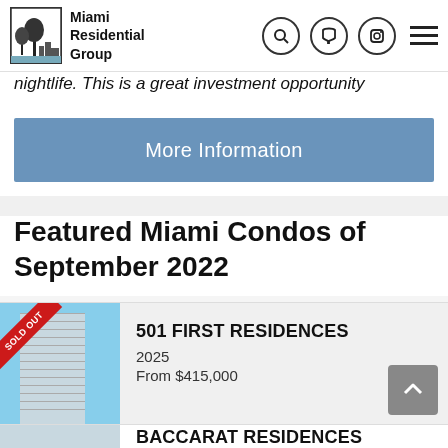Miami Residential Group
nightlife. This is a great investment opportunity
More Information
Featured Miami Condos of September 2022
501 FIRST RESIDENCES
2025
From $415,000
BACCARAT RESIDENCES